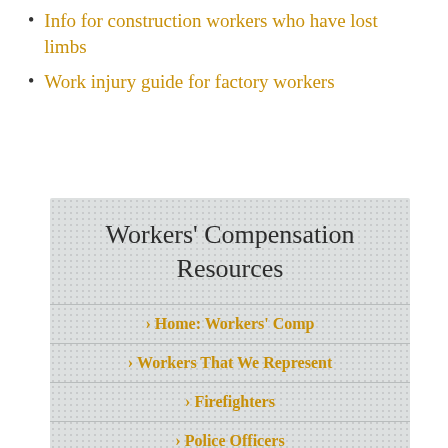Info for construction workers who have lost limbs
Work injury guide for factory workers
Workers' Compensation Resources
> Home: Workers' Comp
> Workers That We Represent
> Firefighters
> Police Officers
> City & State Em...